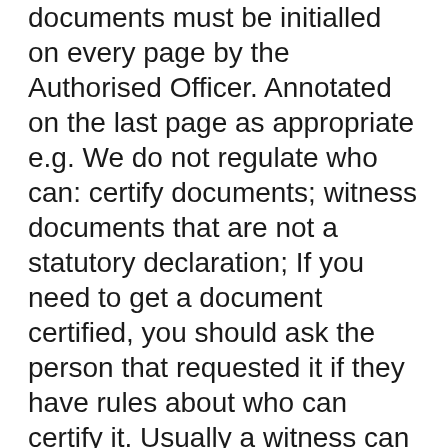documents must be initialled on every page by the Authorised Officer. Annotated on the last page as appropriate e.g. We do not regulate who can: certify documents; witness documents that are not a statutory declaration; If you need to get a document certified, you should ask the person that requested it if they have rules about who can certify it. Usually a witness can be anyone who: is 18 years or older
Having your documents certified ensures that we know your submitted documents are a genuine, true and correct copy of your original documents. It is important that you submit good